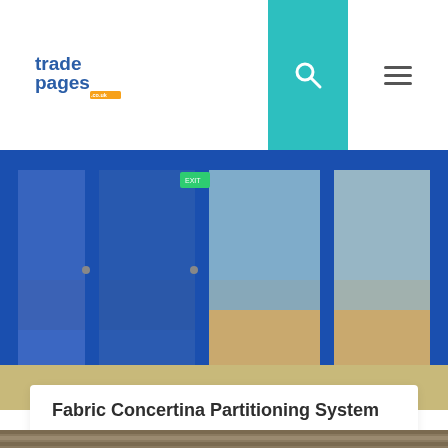[Figure (logo): tradepages.co.uk logo in blue and orange]
[Figure (photo): Blue partition doors and glass panels in a building interior]
Fabric Concertina Partitioning System
Building & Construction
Here at Building Additions we are an established folding partition manufacturer with a reputation for ...
[Figure (photo): Wooden slatted partition panels in a room interior]